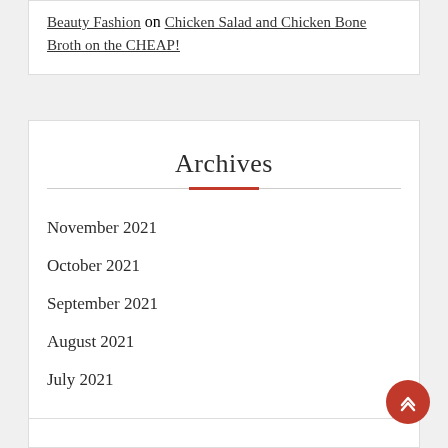Beauty Fashion on Chicken Salad and Chicken Bone Broth on the CHEAP!
Archives
November 2021
October 2021
September 2021
August 2021
July 2021